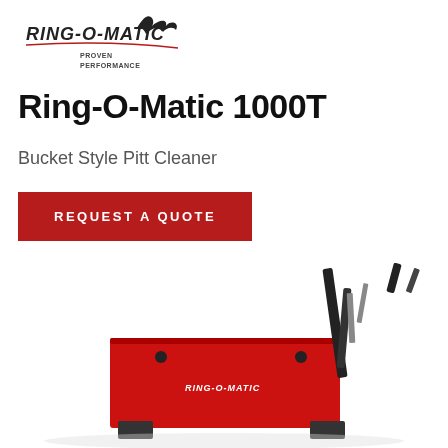[Figure (logo): Ring-O-Matic logo with stylized text and 'PROVEN PERFORMANCE' tagline]
Ring-O-Matic 1000T
Bucket Style Pitt Cleaner
REQUEST A QUOTE
[Figure (photo): Red Ring-O-Matic 1000T bucket style pitt cleaner machine with black hydraulic arm, partially visible at bottom of page]